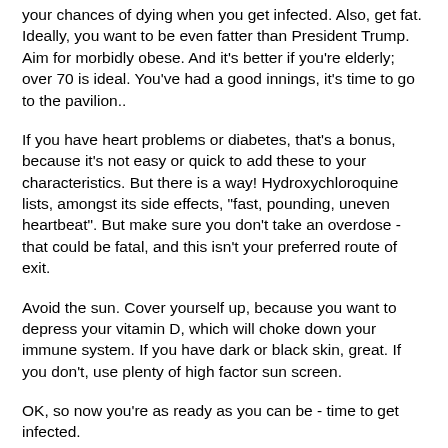your chances of dying when you get infected. Also, get fat. Ideally, you want to be even fatter than President Trump. Aim for morbidly obese. And it's better if you're elderly; over 70 is ideal. You've had a good innings, it's time to go to the pavilion..
If you have heart problems or diabetes, that's a bonus, because it's not easy or quick to add these to your characteristics. But there is a way! Hydroxychloroquine lists, amongst its side effects, "fast, pounding, uneven heartbeat". But make sure you don't take an overdose - that could be fatal, and this isn't your preferred route of exit.
Avoid the sun. Cover yourself up, because you want to depress your vitamin D, which will choke down your immune system. If you have dark or black skin, great. If you don't, use plenty of high factor sun screen.
OK, so now you're as ready as you can be - time to get infected.
The obvious way is to do what Boris did - visit a hospital and